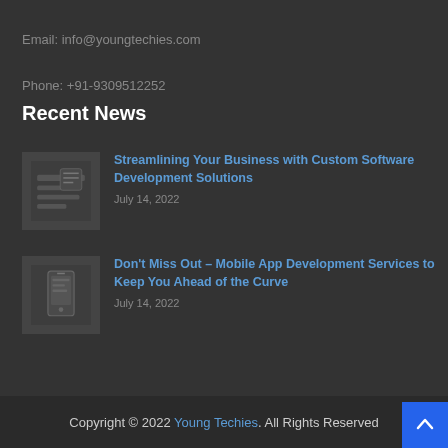Email: info@youngtechies.com
Phone: +91-9309512252
Recent News
[Figure (photo): Thumbnail image for software development article]
Streamlining Your Business with Custom Software Development Solutions
July 14, 2022
[Figure (photo): Thumbnail image for mobile app development article]
Don't Miss Out – Mobile App Development Services to Keep You Ahead of the Curve
July 14, 2022
Copyright © 2022 Young Techies. All Rights Reserved